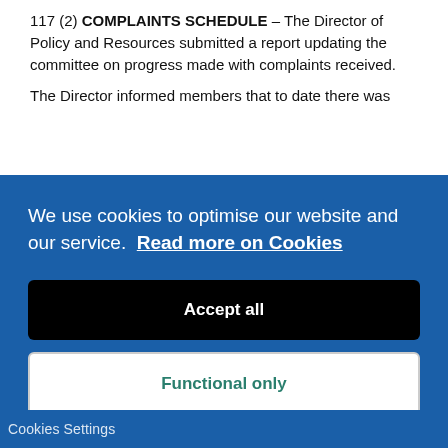117  (2) COMPLAINTS SCHEDULE – The Director of Policy and Resources submitted a report updating the committee on progress made with complaints received.
The Director informed members that to date there was
We use cookies to optimise our website and our service.  Read more on Cookies
Accept all
Functional only
Cookies preferences
Cookies Settings